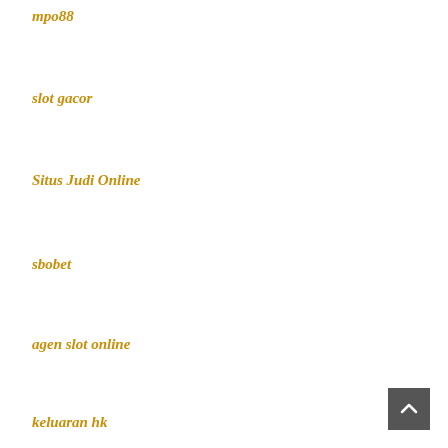mpo88
slot gacor
Situs Judi Online
sbobet
agen slot online
keluaran hk